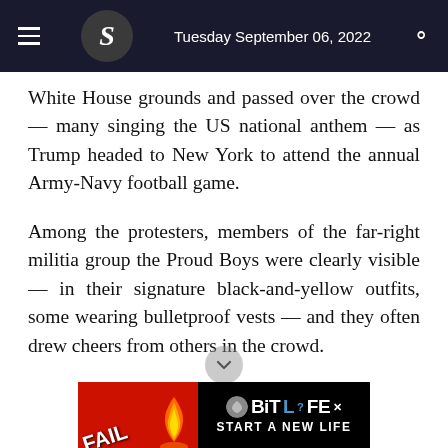Tuesday September 06, 2022
White House grounds and passed over the crowd — many singing the US national anthem — as Trump headed to New York to attend the annual Army-Navy football game.
Among the protesters, members of the far-right militia group the Proud Boys were clearly visible — in their signature black-and-yellow outfits, some wearing bulletproof vests — and they often drew cheers from others in the crowd.
Some blocks away, supporters of the Black Lives Matter movement hel    t own much smaller
[Figure (screenshot): BitLife advertisement banner with 'FAIL' text, flame graphic, and 'START A NEW LIFE' tagline on red and black background]